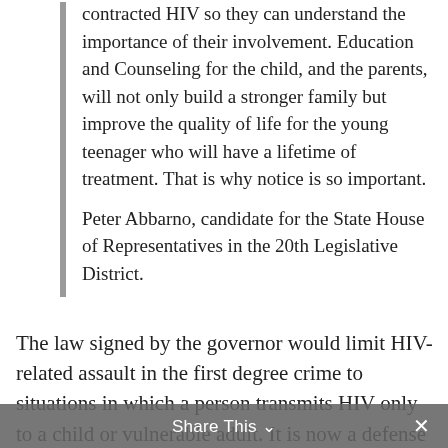contracted HIV so they can understand the importance of their involvement. Education and Counseling for the child, and the parents, will not only build a stronger family but improve the quality of life for the young teenager who will have a lifetime of treatment. That is why notice is so important.
Peter Abbarno, candidate for the State House of Representatives in the 20th Legislative District.
The law signed by the governor would limit HIV-related assault in the first degree crime to situations in which a person transmits HIV only to a child or vulnerable adult. It is now a defense to prosecution, as a misdemeanor, if
Share This